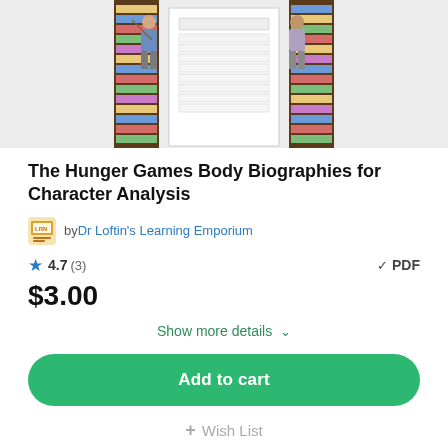[Figure (illustration): Product thumbnail showing two Hunger Games characters (Katniss with bow, another character) standing in front of bookshelves, with a body biography worksheet template in the center background. Gray background.]
The Hunger Games Body Biographies for Character Analysis
by Dr Loftin's Learning Emporium
4.7 (3)
✓ PDF
$3.00
Show more details ∨
Add to cart
+ Wish List